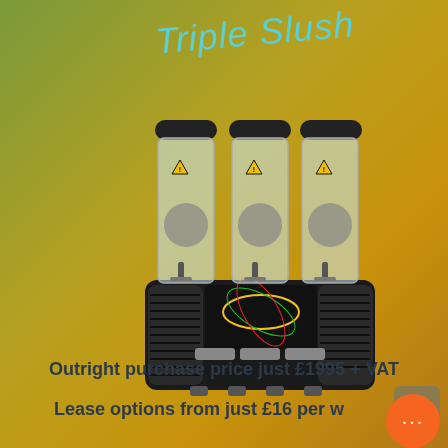Triple Slush
[Figure (photo): Triple slush machine with three transparent chambers, black body, three dispensing taps, and a branded front panel]
Outright purchase price just £1995 + VAT
Lease options from just £16 per w...
Comes with a range of fully...